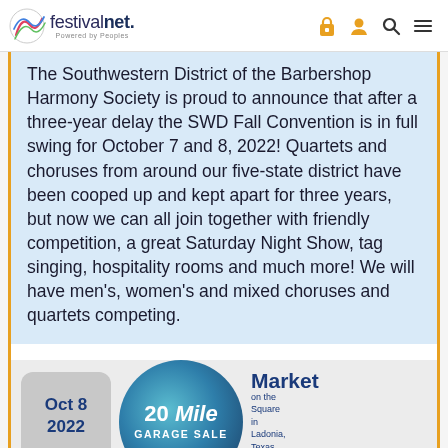festivalnet. Powered by Peoples
The Southwestern District of the Barbershop Harmony Society is proud to announce that after a three-year delay the SWD Fall Convention is in full swing for October 7 and 8, 2022! Quartets and choruses from around our five-state district have been cooped up and kept apart for three years, but now we can all join together with friendly competition, a great Saturday Night Show, tag singing, hospitality rooms and much more! We will have men's, women's and mixed choruses and quartets competing.
[Figure (infographic): Bottom cards row showing: a rounded gray card with 'Oct 8 2022' in blue bold text; a circular badge with teal/blue gradient reading '20 Mile GARAGE SALE'; and 'Market on the Square in Ladonia, Texas' text in blue.]